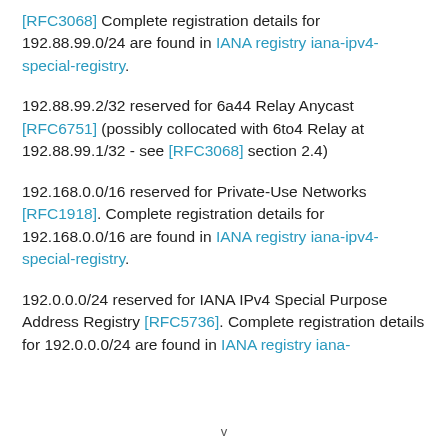[RFC3068] Complete registration details for 192.88.99.0/24 are found in IANA registry iana-ipv4-special-registry.
192.88.99.2/32 reserved for 6a44 Relay Anycast [RFC6751] (possibly collocated with 6to4 Relay at 192.88.99.1/32 - see [RFC3068] section 2.4)
192.168.0.0/16 reserved for Private-Use Networks [RFC1918]. Complete registration details for 192.168.0.0/16 are found in IANA registry iana-ipv4-special-registry.
192.0.0.0/24 reserved for IANA IPv4 Special Purpose Address Registry [RFC5736]. Complete registration details for 192.0.0.0/24 are found in IANA registry iana-
v